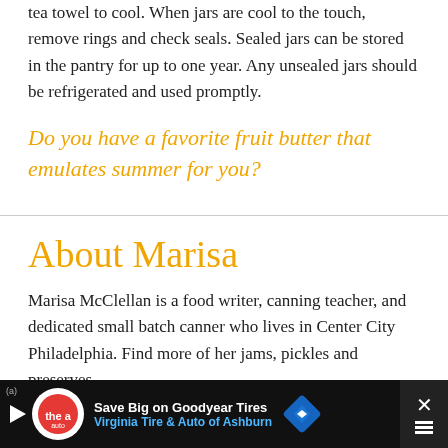tea towel to cool. When jars are cool to the touch, remove rings and check seals. Sealed jars can be stored in the pantry for up to one year. Any unsealed jars should be refrigerated and used promptly.
Do you have a favorite fruit butter that emulates summer for you?
About Marisa
Marisa McClellan is a food writer, canning teacher, and dedicated small batch canner who lives in Center City Philadelphia. Find more of her jams, pickles and preserves
[Figure (other): Advertisement banner: Save Big on Goodyear Tires - Virginia Tire & Auto of Ashburn]